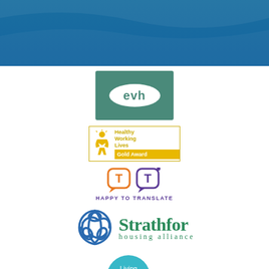[Figure (logo): Blue header banner with wave texture at top of page]
[Figure (logo): EVH logo - white oval with 'evh' text on teal/green background rectangle]
[Figure (logo): Healthy Working Lives Gold Award logo - figure icon with yellow/gold text and gold award banner]
[Figure (logo): Happy to Translate logo - orange and purple speech bubble icons with text 'HAPPY TO TRANSLATE']
[Figure (logo): Strathfor Housing Alliance logo - blue triquetra/trinity knot symbol with green text 'Strathfor housing alliance']
[Figure (logo): Living Wage Scotland logo - teal circle with white text overlapping orange and yellow circles]